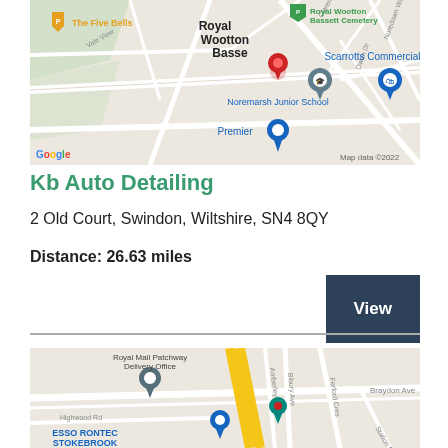[Figure (map): Google Map showing Royal Wootton Bassett area with a red pin marker near Noremarsh Junior School. Labels include The Five Bells, Royal Wootton Bassett Cemetery, Noremarsh Junior School, Scarrotts Commercials, Premier, Vale View, Clarendon Dr, Noredown Way, Dwan Dr. Google logo and Map data ©2022 attribution.]
Kb Auto Detailing
2 Old Court, Swindon, Wiltshire, SN4 8QY
Distance: 26.63 miles
View
[Figure (map): Google Map showing Patchway area with a teal/red pin marker near Bibury Ave. Labels include Royal Mail Patchway Delivery Office, ESSO RONTEC STOKEBROOK, Highwood Rd, Braydon Ave, Ferford Cres, Amberley Rd, Station Rd.]